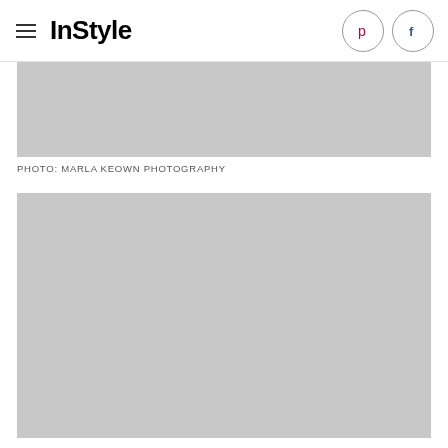InStyle
[Figure (photo): Gray placeholder image (photo of unknown subject), cropped at top]
PHOTO: MARLA KEOWN PHOTOGRAPHY
[Figure (photo): Large gray placeholder image (second photo)]